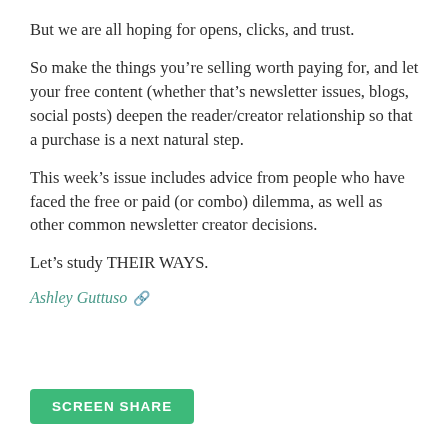But we are all hoping for opens, clicks, and trust.
So make the things you’re selling worth paying for, and let your free content (whether that’s newsletter issues, blogs, social posts) deepen the reader/creator relationship so that a purchase is a next natural step.
This week’s issue includes advice from people who have faced the free or paid (or combo) dilemma, as well as other common newsletter creator decisions.
Let’s study THEIR WAYS.
Ashley Guttuso 🔗
SCREEN SHARE